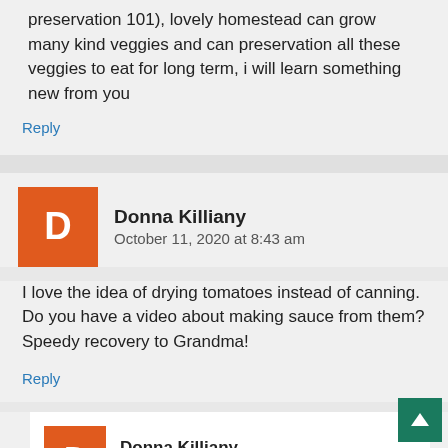preservation 101), lovely homestead can grow many kind veggies and can preservation all these veggies to eat for long term, i will learn something new from you
Reply
Donna Killiany
October 11, 2020 at 8:43 am
I love the idea of drying tomatoes instead of canning. Do you have a video about making sauce from them? Speedy recovery to Grandma!
Reply
Donna Killiany
October 11, 2020 at 8:57 am